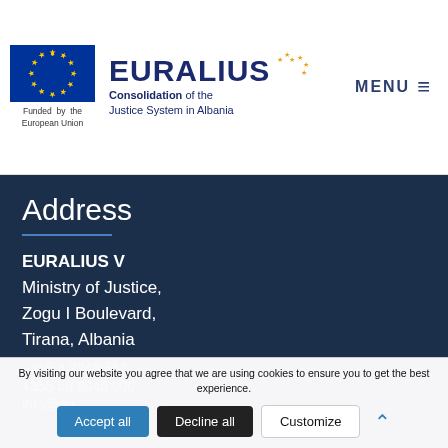[Figure (logo): EU flag logo with 12 yellow stars on blue background, labeled 'Funded by the European Union']
[Figure (logo): EURALIUS logo with orange stars arc, subtitle 'Consolidation of the Justice System in Albania']
MENU ≡
Address
EURALIUS V
Ministry of Justice,
Zogu I Boulevard,
Tirana, Albania
+355 4 2248 553
+355 68 8046 000
info@eu...
By visiting our website you agree that we are using cookies to ensure you to get the best experience.